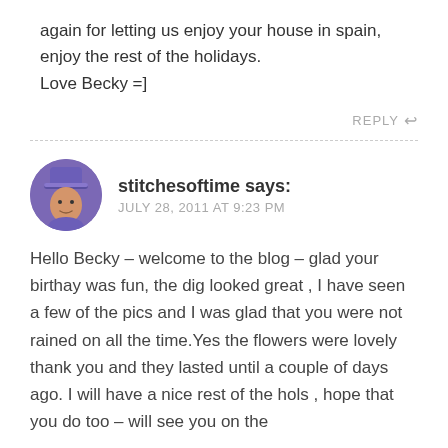again for letting us enjoy your house in spain, enjoy the rest of the holidays.
Love Becky =]
REPLY
stitchesoftime says:
JULY 28, 2011 AT 9:23 PM
Hello Becky – welcome to the blog – glad your birthay was fun, the dig looked great , I have seen a few of the pics and I was glad that you were not rained on all the time.Yes the flowers were lovely thank you and they lasted until a couple of days ago. I will have a nice rest of the hols , hope that you do too – will see you on the